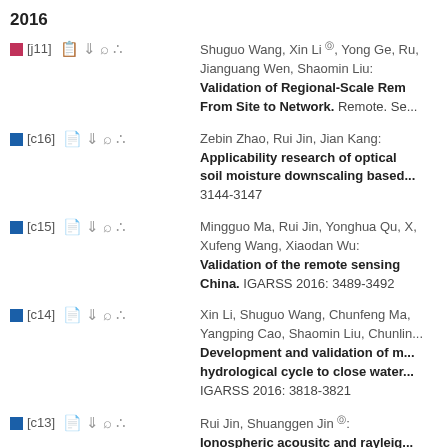2016
[j11] Shuguo Wang, Xin Li, Yong Ge, Ru, Jianguang Wen, Shaomin Liu: Validation of Regional-Scale Rem... From Site to Network. Remote. Se...
[c16] Zebin Zhao, Rui Jin, Jian Kang: Applicability research of optical soil moisture downscaling based... 3144-3147
[c15] Mingguo Ma, Rui Jin, Yonghua Qu, X, Xufeng Wang, Xiaodan Wu: Validation of the remote sensing... China. IGARSS 2016: 3489-3492
[c14] Xin Li, Shuguo Wang, Chunfeng Ma, Yangping Cao, Shaomin Liu, Chunlin... Development and validation of m... hydrological cycle to close water... IGARSS 2016: 3818-3821
[c13] Rui Jin, Shuanggen Jin: Ionospheric acousitc and rayleig...